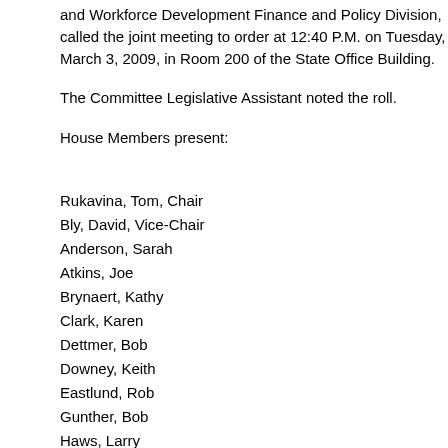and Workforce Development Finance and Policy Division, called the joint meeting to order at 12:40 P.M. on Tuesday, March 3, 2009, in Room 200 of the State Office Building.
The Committee Legislative Assistant noted the roll.
House Members present:
Rukavina, Tom, Chair
Bly, David, Vice-Chair
Anderson, Sarah
Atkins, Joe
Brynaert, Kathy
Clark, Karen
Dettmer, Bob
Downey, Keith
Eastlund, Rob
Gunther, Bob
Haws, Larry
Mahoney, Tim